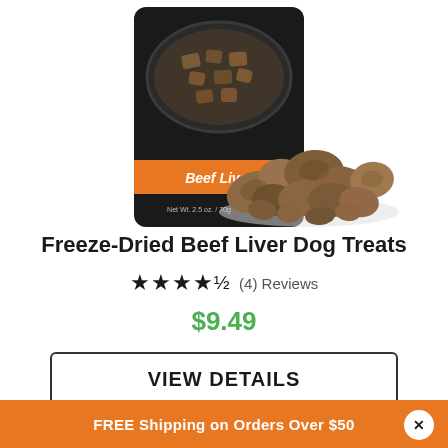[Figure (photo): Freeze-dried beef liver dog treats product photo showing a dark bag labeled 'Beef Liver' with an orange stripe, and a pile of freeze-dried beef liver pieces in front]
Freeze-Dried Beef Liver Dog Treats
★★★★½ (4) Reviews
$9.49
VIEW DETAILS
FREE Shipping on Orders Over $50